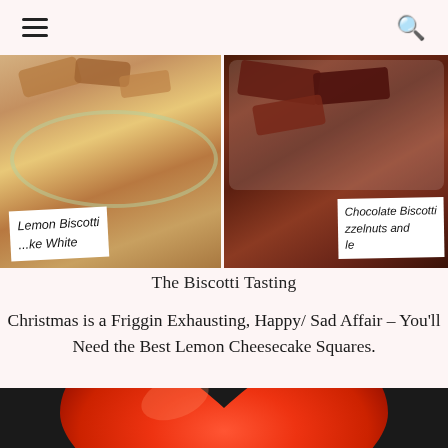☰ [hamburger menu] [search icon]
[Figure (photo): Two food photos side by side: left shows Lemon Biscotti on a decorative plate with a handwritten label reading 'Lemon Biscotti / ...ite'; right shows Chocolate Biscotti with hazelnuts on a white plate with a partially visible label reading 'Chocolate Biscotti / zzelnuts and / ...le']
The Biscotti Tasting
Christmas is a Friggin Exhausting, Happy/ Sad Affair – You'll Need the Best Lemon Cheesecake Squares.
[Figure (photo): Close-up photo of a red/orange heart-shaped object against a dark background]